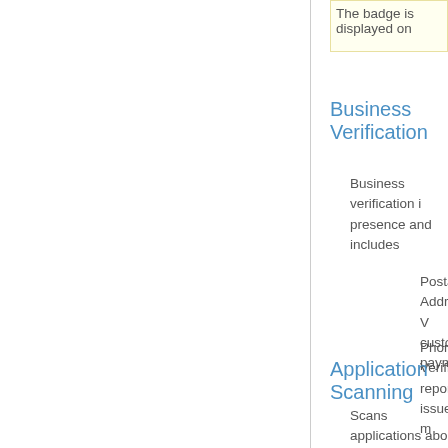The badge is displayed on
Business Verification
Business verification i... presence and includes
Postal Address V... customer payme
Phone Verificatio... report issues or m
The business verificat
Application Scanning
Scans applications abo... Joomla!, Wordpress, E